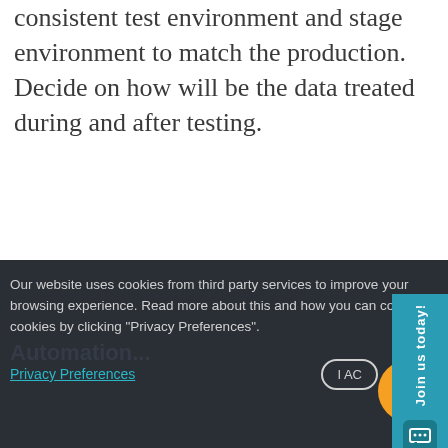consistent test environment and stage environment to match the production. Decide on how will be the data treated during and after testing.
“The team members should be aware of what is happening in the automation space, so involve them and make them equally responsible for tests.”
Join us today!
Our website uses cookies from third party services to improve your browsing experience. Read more about this and how you can control cookies by clicking “Privacy Preferences”.
Privacy Preferences
I AC